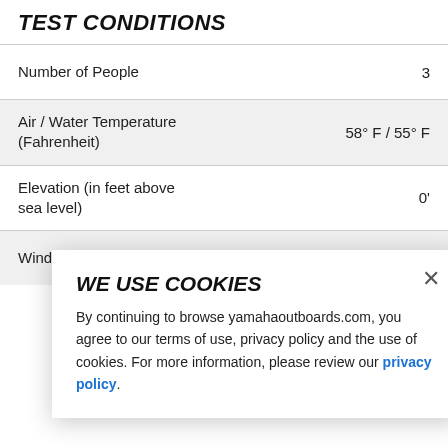TEST CONDITIONS
| Condition | Value |
| --- | --- |
| Number of People | 3 |
| Air / Water Temperature (Fahrenheit) | 58° F / 55° F |
| Elevation (in feet above sea level) | 0' |
| Wind Velocity | 0-5 MPH |
WE USE COOKIES
By continuing to browse yamahaoutboards.com, you agree to our terms of use, privacy policy and the use of cookies. For more information, please review our privacy policy.